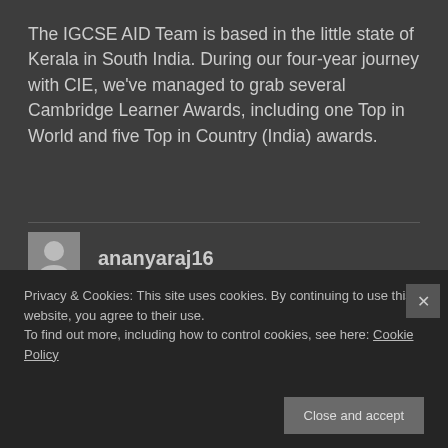The IGCSE AID Team is based in the little state of Kerala in South India. During our four-year journey with CIE, we've managed to grab several Cambridge Learner Awards, including one Top in World and five Top in Country (India) awards.
ananyaraj16
Azmina
Privacy & Cookies: This site uses cookies. By continuing to use this website, you agree to their use. To find out more, including how to control cookies, see here: Cookie Policy
Close and accept